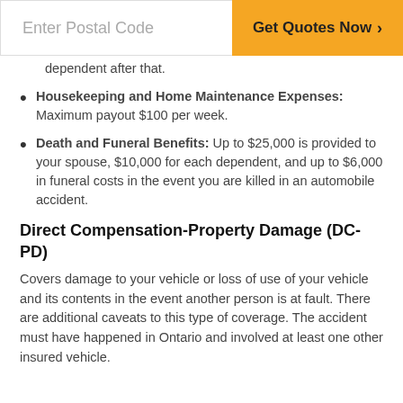Enter Postal Code | Get Quotes Now >
dependent after that.
Housekeeping and Home Maintenance Expenses: Maximum payout $100 per week.
Death and Funeral Benefits: Up to $25,000 is provided to your spouse, $10,000 for each dependent, and up to $6,000 in funeral costs in the event you are killed in an automobile accident.
Direct Compensation-Property Damage (DC-PD)
Covers damage to your vehicle or loss of use of your vehicle and its contents in the event another person is at fault. There are additional caveats to this type of coverage. The accident must have happened in Ontario and involved at least one other insured vehicle.